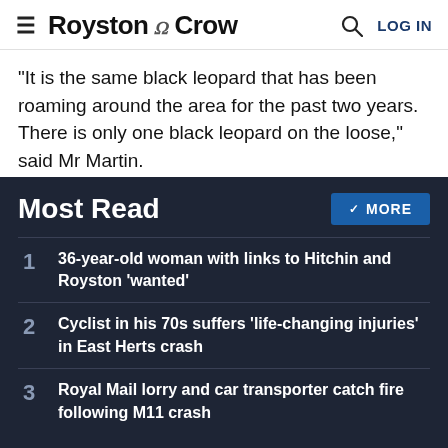Royston Crow | LOG IN
"It is the same black leopard that has been roaming around the area for the past two years. There is only one black leopard on the loose," said Mr Martin.
"Normally leopards pose no threat to humans but if they are provoked or cornered they could attack because they would feel threatened.
Most Read
36-year-old woman with links to Hitchin and Royston 'wanted'
Cyclist in his 70s suffers 'life-changing injuries' in East Herts crash
Royal Mail lorry and car transporter catch fire following M11 crash